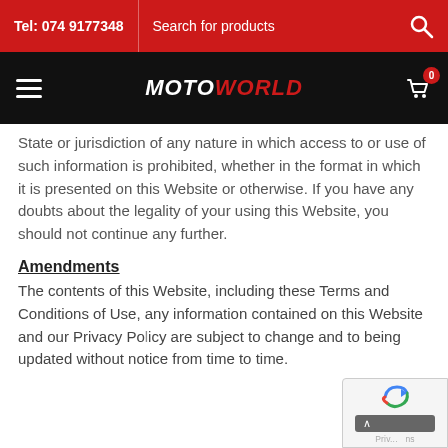Tel: 074 9177348  |  Search for products
[Figure (logo): MOTOWORLD logo in white and red on black navigation bar with hamburger menu and cart icon showing 0 items]
State or jurisdiction of any nature in which access to or use of such information is prohibited, whether in the format in which it is presented on this Website or otherwise. If you have any doubts about the legality of your using this Website, you should not continue any further.
Amendments
The contents of this Website, including these Terms and Conditions of Use, any information contained on this Website and our Privacy Policy are subject to change and to being updated without notice from time to time.